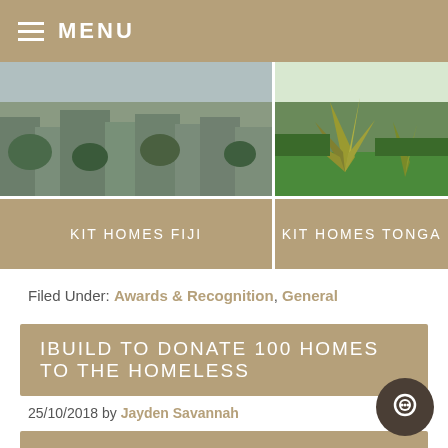MENU
[Figure (photo): Aerial view of a town/city]
[Figure (photo): Garden with tropical plants and green lawn]
KIT HOMES FIJI
KIT HOMES TONGA
Filed Under: Awards & Recognition, General
IBUILD TO DONATE 100 HOMES TO THE HOMELESS
25/10/2018 by Jayden Savannah
A SPECIAL ANNOUNCEMENT FROM THE OFFICIAL OPENING